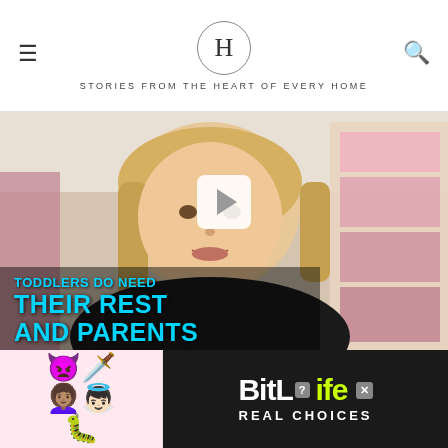H — STORIES FROM THE HEART OF EVERY HOME
[Figure (photo): Video thumbnail of a blonde woman in a black top in a room with a dollhouse. Overlaid text reads: TODDLERS DO NEED THEIR REST AND PARENTS... A white play button is visible in the center.]
[Figure (other): BitLife advertisement banner with emojis (devil, woman, angel, sperm) on left and BitLife logo with 'REAL CHOICES' text on dark background on right.]